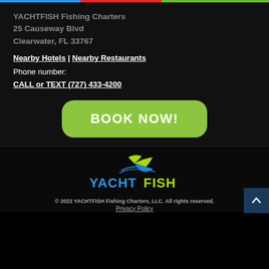YACHTFISH Fishing Charters
25 Causeway Blvd
Clearwater, FL 33767
Nearby Hotels | Nearby Restaurants
Phone number:
CALL or TEXT (727) 433-4200
[Figure (other): Green rounded rectangle button with white bold text BOOK NOW!]
[Figure (logo): YACHTFISH logo with stylized fish and boat graphics in blue and green colors]
© 2022 YACHTFISH Fishing Charters, LLC. All rights reserved.
Privacy Policy